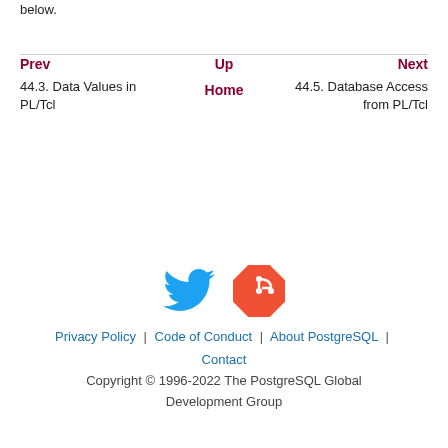below.
Prev | Up | Next
44.3. Data Values in PL/Tcl | Home | 44.5. Database Access from PL/Tcl
[Figure (logo): Twitter bird icon (blue) and Git logo icon (red/orange diamond shape)]
Privacy Policy | Code of Conduct | About PostgreSQL | Contact
Copyright © 1996-2022 The PostgreSQL Global Development Group